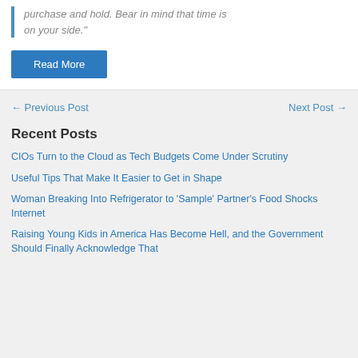purchase and hold. Bear in mind that time is on your side."
Read More
← Previous Post
Next Post →
Recent Posts
CIOs Turn to the Cloud as Tech Budgets Come Under Scrutiny
Useful Tips That Make It Easier to Get in Shape
Woman Breaking Into Refrigerator to 'Sample' Partner's Food Shocks Internet
Raising Young Kids in America Has Become Hell, and the Government Should Finally Acknowledge That